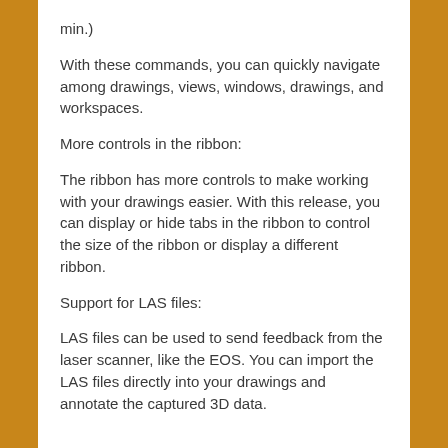min.)
With these commands, you can quickly navigate among drawings, views, windows, drawings, and workspaces.
More controls in the ribbon:
The ribbon has more controls to make working with your drawings easier. With this release, you can display or hide tabs in the ribbon to control the size of the ribbon or display a different ribbon.
Support for LAS files:
LAS files can be used to send feedback from the laser scanner, like the EOS. You can import the LAS files directly into your drawings and annotate the captured 3D data.